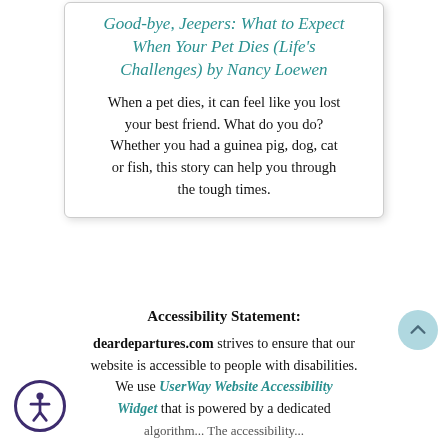Good-bye, Jeepers: What to Expect When Your Pet Dies (Life's Challenges) by Nancy Loewen
When a pet dies, it can feel like you lost your best friend. What do you do? Whether you had a guinea pig, dog, cat or fish, this story can help you through the tough times.
Accessibility Statement:
deardepartures.com strives to ensure that our website is accessible to people with disabilities. We use UserWay Website Accessibility Widget that is powered by a dedicated